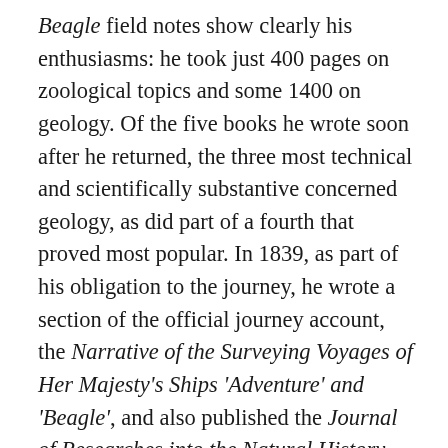Beagle field notes show clearly his enthusiasms: he took just 400 pages on zoological topics and some 1400 on geology. Of the five books he wrote soon after he returned, the three most technical and scientifically substantive concerned geology, as did part of a fourth that proved most popular. In 1839, as part of his obligation to the journey, he wrote a section of the official journey account, the Narrative of the Surveying Voyages of Her Majesty's Ships 'Adventure' and 'Beagle', and also published the Journal of Researches into the Natural History and Geology of the Countries Visited During the Voyage Round the World of H.M.S. Beagle, which soon became a bestseller known as The Voyage of the Beagle. Much of the Voyage concerned geology, and his next three books focused on it and his last two also, the last in 1842, and the